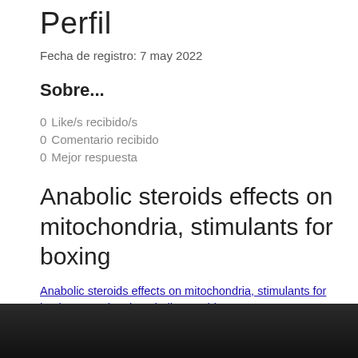Perfil
Fecha de registro: 7 may 2022
Sobre...
0 Like/s recibido/s
0 Comentario recibido
0 Mejor respuesta
Anabolic steroids effects on mitochondria, stimulants for boxing
Anabolic steroids effects on mitochondria, stimulants for boxing - Buy legal anabolic steroids
[Figure (photo): Dark image strip at bottom of page, partially visible]